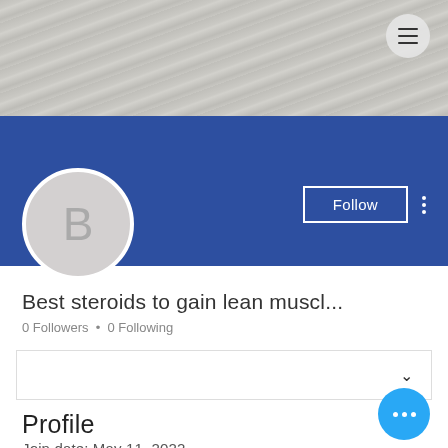[Figure (screenshot): Social media profile page screenshot showing a cover photo with stone/concrete texture, a blue banner, avatar circle with letter B, Follow button, profile name, follower count, dropdown box, Profile section, and Join date.]
Best steroids to gain lean muscl...
0 Followers • 0 Following
Profile
Join date: May 11, 2022